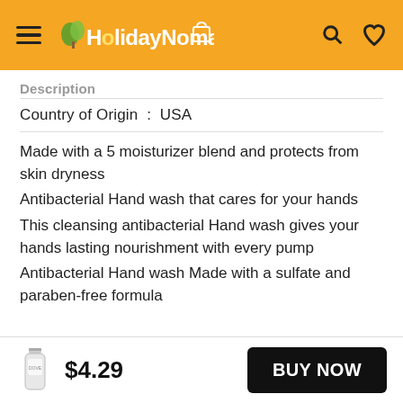HolidayNomad
Description
Country of Origin : USA
Made with a 5 moisturizer blend and protects from skin dryness
Antibacterial Hand wash that cares for your hands
This cleansing antibacterial Hand wash gives your hands lasting nourishment with every pump
Antibacterial Hand wash Made with a sulfate and paraben-free formula
$4.29  BUY NOW